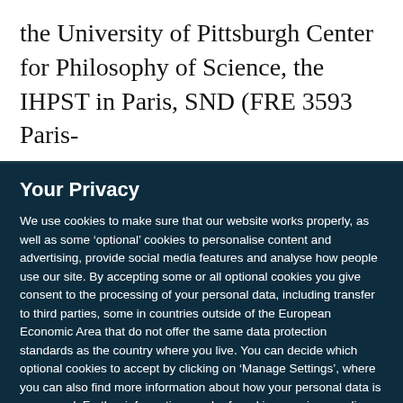the University of Pittsburgh Center for Philosophy of Science, the IHPST in Paris, SND (FRE 3593 Paris-
Your Privacy
We use cookies to make sure that our website works properly, as well as some ‘optional’ cookies to personalise content and advertising, provide social media features and analyse how people use our site. By accepting some or all optional cookies you give consent to the processing of your personal data, including transfer to third parties, some in countries outside of the European Economic Area that do not offer the same data protection standards as the country where you live. You can decide which optional cookies to accept by clicking on ‘Manage Settings’, where you can also find more information about how your personal data is processed. Further information can be found in our privacy policy.
Accept all cookies
Manage preferences